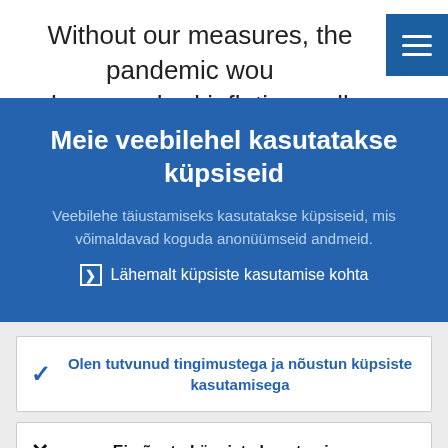Without our measures, the pandemic would have pushed inflation well below 2%. By the end of 2023...
Meie veebilehel kasutatakse küpsiseid
Veebilehe täiustamiseks kasutatakse küpsiseid, mis võimaldavad koguda anonüümseid andmeid.
❯ Lähemalt küpsiste kasutamise kohta
Olen tutvunud tingimustega ja nõustun küpsiste kasutamisega
Ei nõustu küpsiste kasutamisega